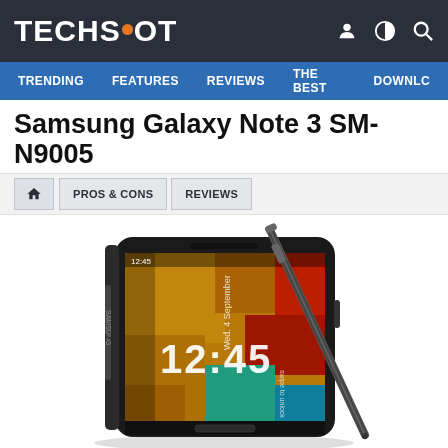TECHSPOT
TRENDING  FEATURES  REVIEWS  THE BEST  DOWNLC
Samsung Galaxy Note 3 SM-N9005
PROS & CONS
REVIEWS
[Figure (photo): Samsung Galaxy Note 3 SM-N9005 smartphone shown at an angle with stylus pen, displaying 12:45 PM on lock screen with colorful wallpaper]